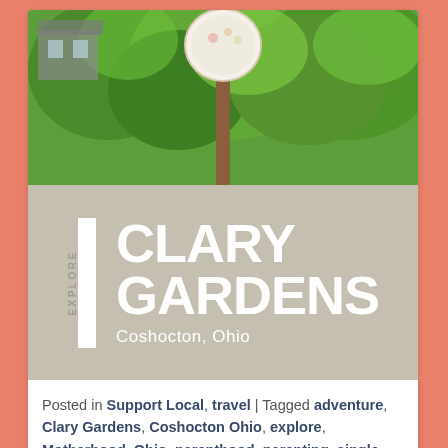[Figure (photo): Photo of a garden sign on a pole with green trees and foliage in the background, overlaid with a tan/khaki banner reading EXPLORE CLARY GARDENS, Coshocton, Ohio]
Posted in Support Local, travel | Tagged adventure, Clary Gardens, Coshocton Ohio, explore, Motherhood, Ohio, parenthood, parenting, single mom, single motherhood, Single Parent, support, Support Local, Toddler, toddler activities, toddler approved, Toddler Friendly, toddlerhood, travel | 8 Replies